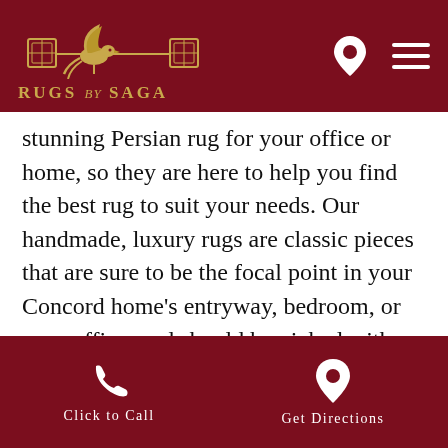Rugs by Saga
stunning Persian rug for your office or home, so they are here to help you find the best rug to suit your needs. Our handmade, luxury rugs are classic pieces that are sure to be the focal point in your Concord home's entryway, bedroom, or your office, and should be picked with your room's own style and the rug's exceptional qualities in mind.
Carpet-making in the country now known as Iran has a prestige and heritage so great, it has been named an "intangible part of cultural heritage" by the United
Click to Call  Get Directions